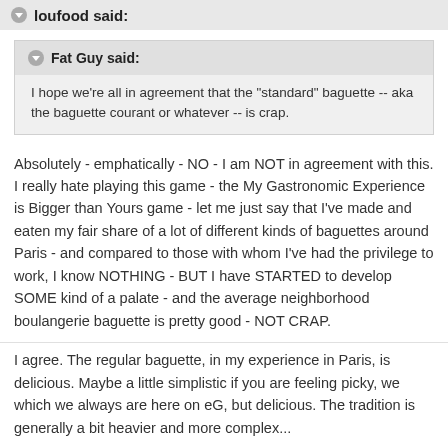loufood said:
Fat Guy said:
I hope we're all in agreement that the "standard" baguette -- aka the baguette courant or whatever -- is crap.
Absolutely - emphatically - NO - I am NOT in agreement with this. I really hate playing this game - the My Gastronomic Experience is Bigger than Yours game - let me just say that I've made and eaten my fair share of a lot of different kinds of baguettes around Paris - and compared to those with whom I've had the privilege to work, I know NOTHING - BUT I have STARTED to develop SOME kind of a palate - and the average neighborhood boulangerie baguette is pretty good - NOT CRAP.
I agree. The regular baguette, in my experience in Paris, is delicious. Maybe a little simplistic if you are feeling picky, we which we always are here on eG, but delicious. The tradition is generally a bit heavier and more complex...